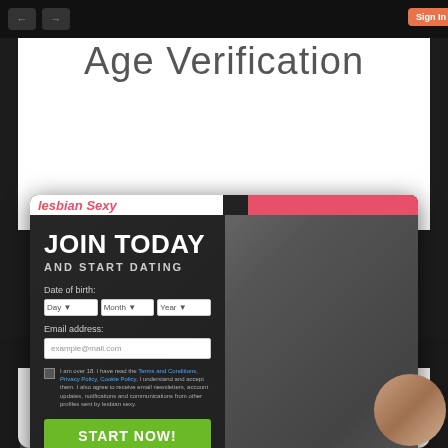[Figure (screenshot): Screenshot of a browser showing an age verification modal overlay on top of a dating website. The modal shows 'Age Verification' text at the top on white background. Behind it is a popup from 'Lesbian Sexy' dating site with a 'Join Today and Start Dating' signup form with date of birth dropdowns, email address field, checkbox agreement, and a green 'Start Now!' button. The background shows two women in a greyscale photo.]